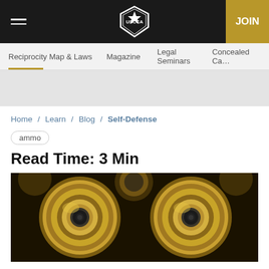USCCA — JOIN
Reciprocity Map & Laws / Magazine / Legal Seminars / Concealed Ca...
Home / Learn / Blog / Self-Defense
ammo
Read Time: 3 Min
[Figure (photo): Close-up macro photograph of brass bullet cartridge primers, showing gold metallic casings with circular primer pockets]